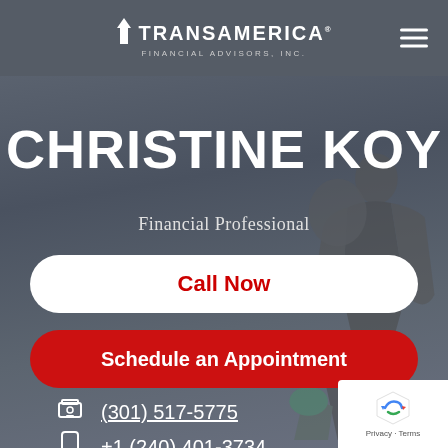Transamerica Financial Advisors, Inc.
CHRISTINE KOY
Financial Professional
Call Now
Schedule an Appointment
(301) 517-5775
+1 (240) 401-3734